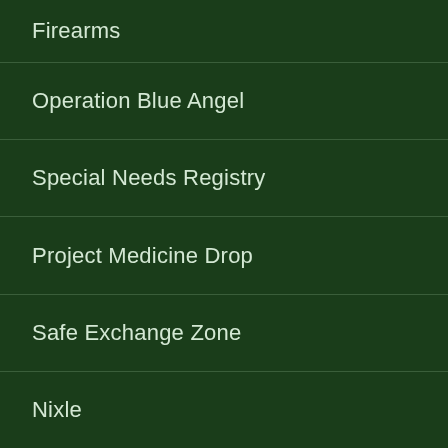Firearms
Operation Blue Angel
Special Needs Registry
Project Medicine Drop
Safe Exchange Zone
Nixle